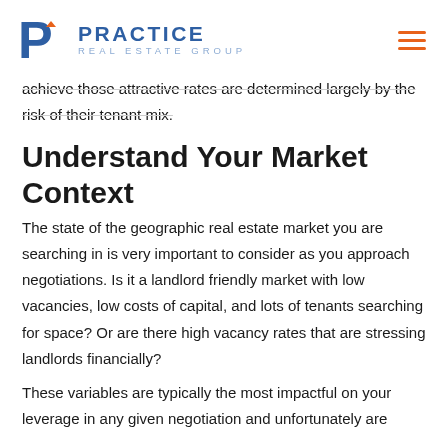Practice Real Estate Group
achieve those attractive rates are determined largely by the risk of their tenant mix.
Understand Your Market Context
The state of the geographic real estate market you are searching in is very important to consider as you approach negotiations. Is it a landlord friendly market with low vacancies, low costs of capital, and lots of tenants searching for space? Or are there high vacancy rates that are stressing landlords financially?
These variables are typically the most impactful on your leverage in any given negotiation and unfortunately are